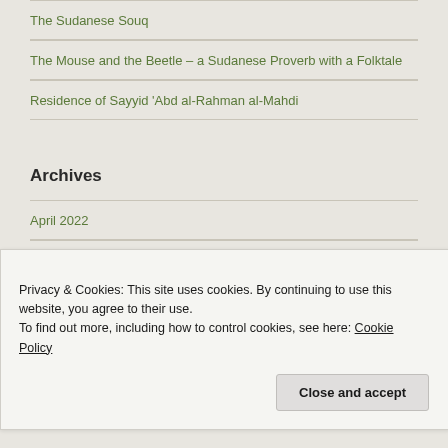The Sudanese Souq
The Mouse and the Beetle – a Sudanese Proverb with a Folktale
Residence of Sayyid 'Abd al-Rahman al-Mahdi
Archives
April 2022
April 2018
December 2016
August 2016
Privacy & Cookies: This site uses cookies. By continuing to use this website, you agree to their use.
To find out more, including how to control cookies, see here: Cookie Policy
Close and accept